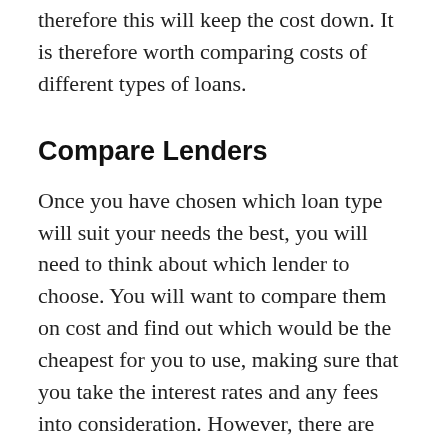therefore this will keep the cost down. It is therefore worth comparing costs of different types of loans.
Compare Lenders
Once you have chosen which loan type will suit your needs the best, you will need to think about which lender to choose. You will want to compare them on cost and find out which would be the cheapest for you to use, making sure that you take the interest rates and any fees into consideration. However, there are reasons why most people will not automatically go with the